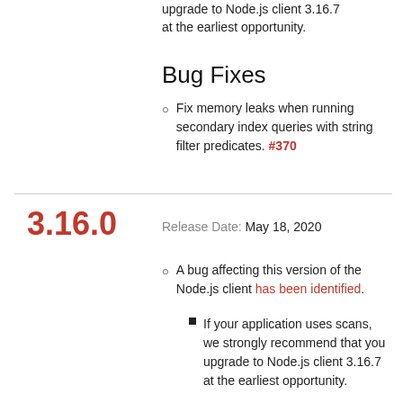upgrade to Node.js client 3.16.7 at the earliest opportunity.
Bug Fixes
Fix memory leaks when running secondary index queries with string filter predicates. #370
3.16.0
Release Date: May 18, 2020
A bug affecting this version of the Node.js client has been identified.
If your application uses scans, we strongly recommend that you upgrade to Node.js client 3.16.7 at the earliest opportunity.